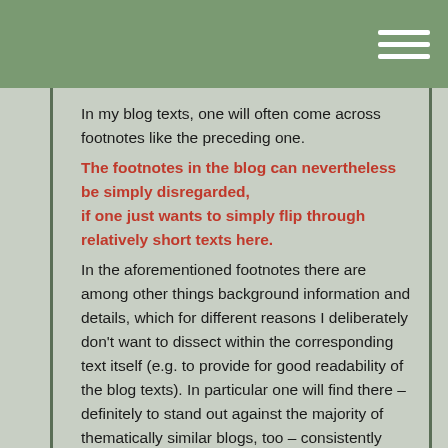In my blog texts, one will often come across footnotes like the preceding one.
The footnotes in the blog can nevertheless be simply disregarded, if one just wants to simply flip through relatively short texts here.
In the aforementioned footnotes there are among other things background information and details, which for different reasons I deliberately don't want to dissect within the corresponding text itself (e.g. to provide for good readability of the blog texts). In particular one will find there – definitely to stand out against the majority of thematically similar blogs, too – consistently corresponding references.
Important hint: an indicator for a footnote (as e.g. * or * * in shorter texts or as e.g. 3 or 12 in longer texts) found in a blog article is actually a special link which will get one directly to the corresponding footnote. One can then get easily back to the text